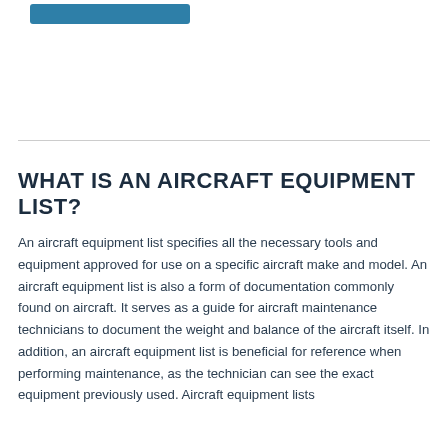[Figure (other): Blue button/banner at top of page]
WHAT IS AN AIRCRAFT EQUIPMENT LIST?
An aircraft equipment list specifies all the necessary tools and equipment approved for use on a specific aircraft make and model. An aircraft equipment list is also a form of documentation commonly found on aircraft. It serves as a guide for aircraft maintenance technicians to document the weight and balance of the aircraft itself. In addition, an aircraft equipment list is beneficial for reference when performing maintenance, as the technician can see the exact equipment previously used. Aircraft equipment lists